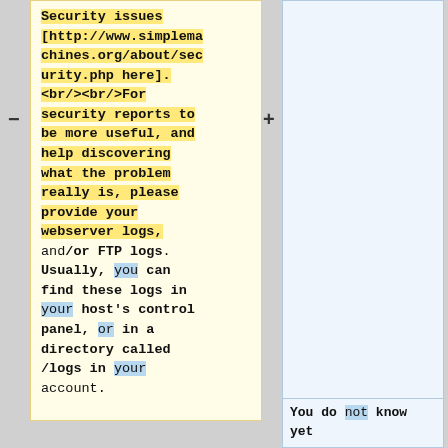Security issues [http://www.simplemachines.org/about/security.php here]. <br/><br/>For security reports to be more useful, and help discovering what the problem really is, please provide your webserver logs, and/or FTP logs. Usually, you can find these logs in your host's control panel, or in a directory called /logs in your account.
You do not know yet